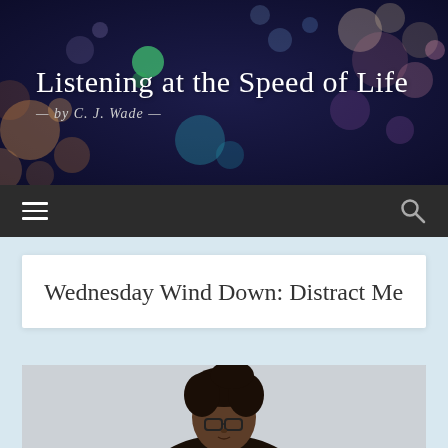Listening at the Speed of Life
— by C. J. Wade —
[Figure (screenshot): Navigation bar with hamburger menu icon on left and search icon on right, dark background]
Wednesday Wind Down: Distract Me
[Figure (photo): Photo of a Black woman with braided hair styled up, wearing eyeglasses, shot from slightly below against a light background]